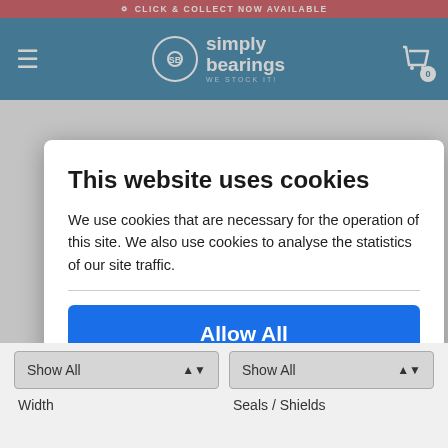Simply Bearings - We Stock It!
This website uses cookies
We use cookies that are necessary for the operation of this site. We also use cookies to analyse the statistics of our site traffic.
Allow All
Deny All Except Essential
Show All
Show All
Width
Seals / Shields